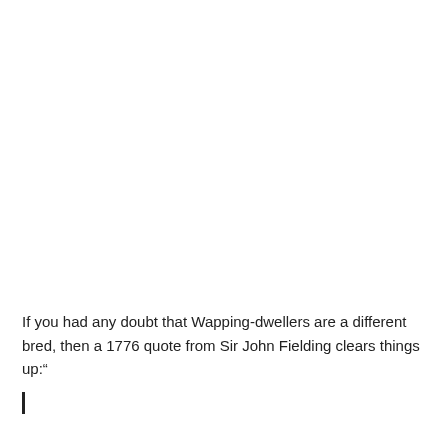If you had any doubt that Wapping-dwellers are a different bred, then a 1776 quote from Sir John Fielding clears things up:"